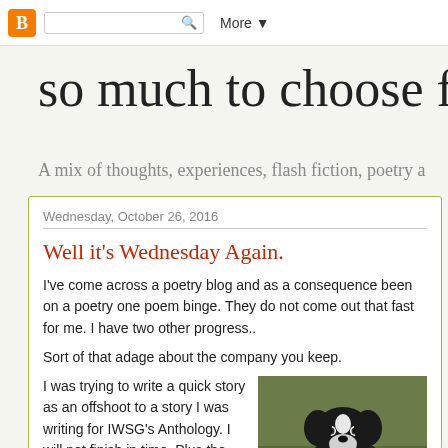Blogger navbar with search and More button
so much to choose from
A mix of thoughts, experiences, flash fiction, poetry a
Wednesday, October 26, 2016
Well it’s Wednesday Again.
I've come across a poetry blog and as a consequence been on a poetry one poem binge. They do not come out that fast for me. I have two other progress..
Sort of that adage about the company you keep.
I was trying to write a quick story as an offshoot to a story I was writing for IWSG’s Anthology. I will not finish in time. Plus the story may become a novella. Funny how a quick little story
[Figure (photo): A black and white puppy wearing a red plaid garment, lying on grass/ground, looking at camera]